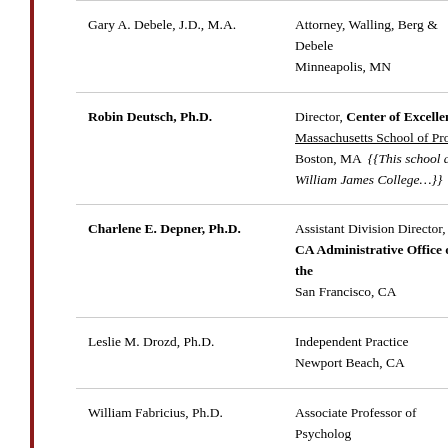| Name | Position/Location |
| --- | --- |
| Gary A. Debele, J.D., M.A. | Attorney, Walling, Berg & Debele
Minneapolis, MN |
| Robin Deutsch, Ph.D. | Director, Center of Excellence
Massachusetts School of Professi…
Boston, MA  {{This school also
William James College…}} |
| Charlene E. Depner, Ph.D. | Assistant Division Director, Cen…
CA Administrative Office of the…
San Francisco, CA |
| Leslie M. Drozd, Ph.D. | Independent Practice
Newport Beach, CA |
| William Fabricius, Ph.D. | Associate Professor of Psycholog…
Tempe, AZ |